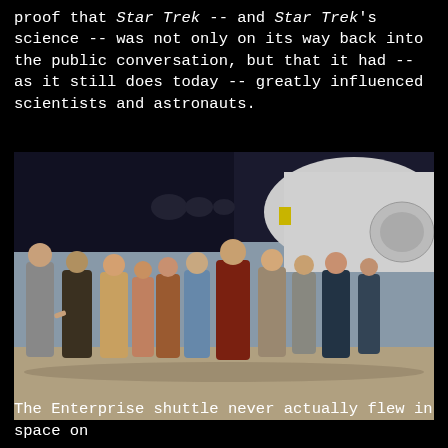proof that Star Trek -- and Star Trek's science -- was not only on its way back into the public conversation, but that it had -- as it still does today -- greatly influenced scientists and astronauts.
[Figure (photo): Group photo of Star Trek cast members and others standing in front of the Space Shuttle Enterprise at a rollout ceremony. Multiple people are posed in a line smiling at the camera, with the large white and dark shuttle visible behind them.]
The Enterprise shuttle never actually flew in space on